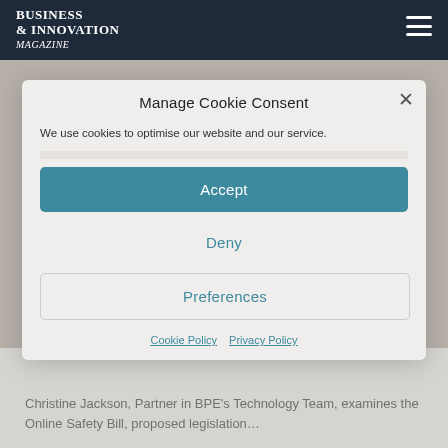BUSINESS & INNOVATION Magazine
Manage Cookie Consent
We use cookies to optimise our website and our service.
Accept
Deny
Preferences
Cookie Policy   Privacy Policy
Time for tech firms to stop marking their own homework? An analysis of the Online Safety Bill from BPE Solicitors
Christine Jackson, Partner in BPE's Technology Team, examines the Online Safety Bill, proposed legislation…